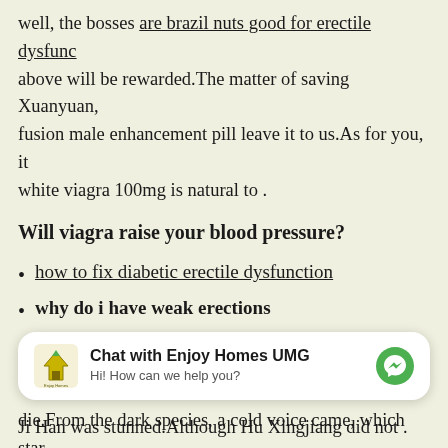well, the bosses are brazil nuts good for erectile dysfunction above will be rewarded.The matter of saving Xuanyuan, fusion male enhancement pill leave it to us.As for you, it white viagra 100mg is natural to .
Will viagra raise your blood pressure?
how to fix diabetic erectile dysfunction
why do i have weak erections
pills make you stay hard longer
rhino 3000 pill
die.From the dark species, a cold voice came, which startled everyone.Youth drink low.Naturally it is the dark species y look down on The national character face came out from
[Figure (screenshot): Chat widget overlay showing 'Chat with Enjoy Homes UMG' with logo and messenger icon, subtitle: 'Hi! How can we help you?']
Ji Han was stunned.Although Hu Xingjiang did not .